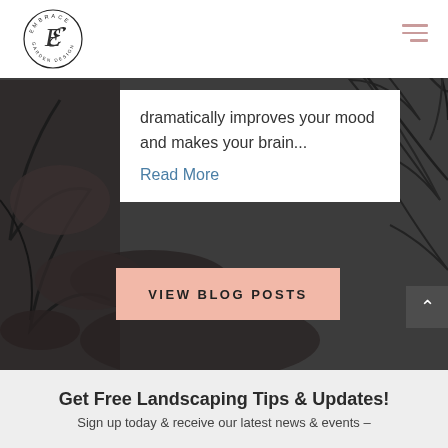[Figure (logo): Embrace Garden Design circular logo with stylized E in center]
[Figure (photo): Dark moody photo of ferns and stones as hero background]
dramatically improves your mood and makes your brain...
Read More
VIEW BLOG POSTS
Get Free Landscaping Tips & Updates!
Sign up today & receive our latest news & events –